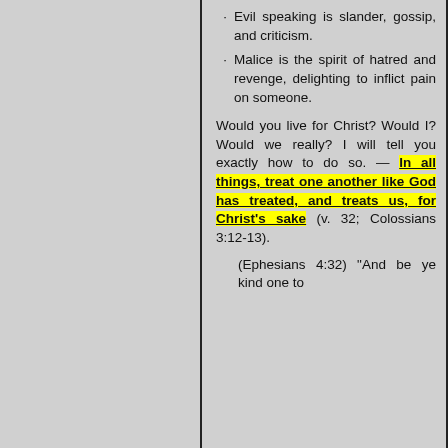Evil speaking is slander, gossip, and criticism.
Malice is the spirit of hatred and revenge, delighting to inflict pain on someone.
Would you live for Christ? Would I? Would we really? I will tell you exactly how to do so. — In all things, treat one another like God has treated, and treats us, for Christ's sake (v. 32; Colossians 3:12-13).
(Ephesians 4:32) "And be ye kind one to